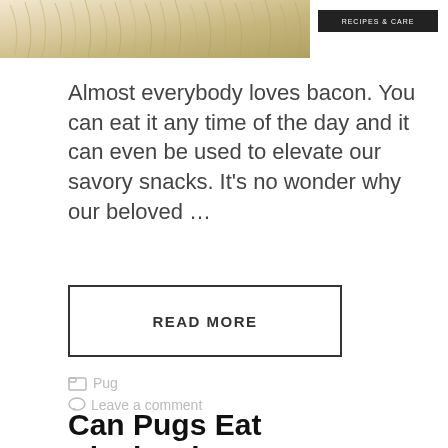[Figure (photo): Partial photo of a pug or similar dog with fur visible at top of page]
Almost everybody loves bacon. You can eat it any time of the day and it can even be used to elevate our savory snacks. It’s no wonder why our beloved …
READ MORE
Pug
Leave a comment
Can Pugs Eat Blueberries? Yes.